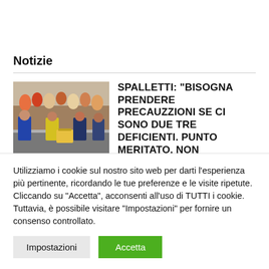Notizie
[Figure (photo): Crowd scene with security/staff personnel at a sports event]
SPALLETTI: "BISOGNA PRENDERE PRECAUZZIONI SE CI SONO DUE TRE DEFICIENTI. PUNTO MERITATO, NON POSSIAMO NASCONDERCI"
Utilizziamo i cookie sul nostro sito web per darti l'esperienza più pertinente, ricordando le tue preferenze e le visite ripetute. Cliccando su "Accetta", acconsenti all'uso di TUTTI i cookie. Tuttavia, è possibile visitare "Impostazioni" per fornire un consenso controllato.
Impostazioni   Accetta